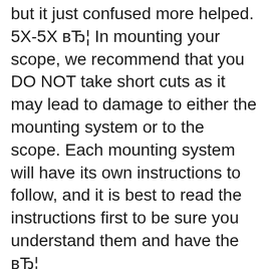but it just confused more helped. 5X-5X вЂ¦ In mounting your scope, we recommend that you DO NOT take short cuts as it may lead to damage to either the mounting system or to the scope. Each mounting system will have its own instructions to follow, and it is best to read the instructions first to be sure you understand them and have the вЂ¦
Apr 23, 2016В В· I bought a cheap red dot sight, a Bushnell TRS-25. The elevation is perfect but my groups are an inch or so too far left. The instructions helpfully state the windage adjustment screw is the one on the right, and that one click = 1 MOA. Bushnell Engage, 6-24x50 Scope,